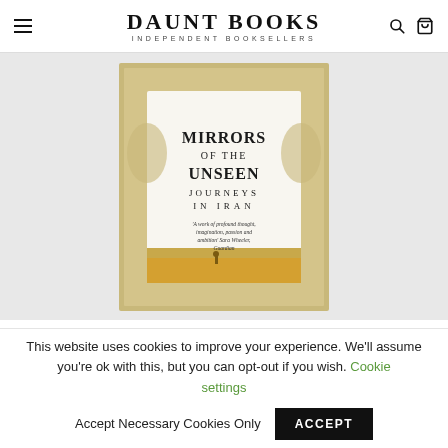DAUNT BOOKS — INDEPENDENT BOOKSELLERS
[Figure (photo): Book cover of 'Mirrors of the Unseen: Journeys in Iran' displayed against a light grey background. The cover has an ornate white decorative border with arabesque patterns, bold serif text reading MIRRORS OF THE UNSEEN JOURNEYS IN IRAN, and a quote at the bottom.]
This website uses cookies to improve your experience. We'll assume you're ok with this, but you can opt-out if you wish. Cookie settings   Accept Necessary Cookies Only   ACCEPT